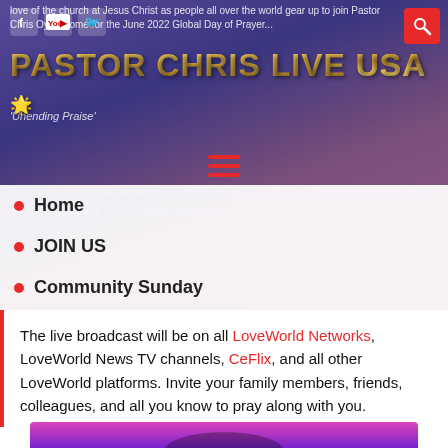Pastor Chris Live USA - website header with navigation
...love of the church at Jesus Christ as people all over the world gear up to join Pastor Chris Oyakhilome for the June 2022 Global Day of Prayer...
[Figure (screenshot): Website header banner with purple gradient background, social media icons (Facebook, YouTube, Twitter), red search button, gold gradient PASTOR CHRIS LIVE USA logo text, and italic subtitle text 'Unending Praise']
[Figure (infographic): Hamburger menu icon with three red horizontal lines]
Home
JOIN US
Community Sunday
About Us
The live broadcast will be on all LoveWorld Networks, LoveWorld News TV channels, CeFlix, and all other LoveWorld platforms. Invite your family members, friends, colleagues, and all you know to pray along with you.
[Figure (photo): Partial photo of a person at bottom of page with colorful pink/purple background]